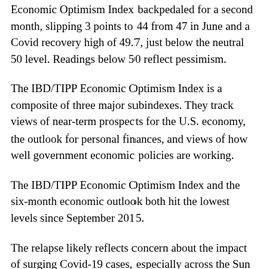Economic Optimism Index backpedaled for a second month, slipping 3 points to 44 from 47 in June and a Covid recovery high of 49.7, just below the neutral 50 level. Readings below 50 reflect pessimism.
The IBD/TIPP Economic Optimism Index is a composite of three major subindexes. They track views of near-term prospects for the U.S. economy, the outlook for personal finances, and views of how well government economic policies are working.
The IBD/TIPP Economic Optimism Index and the six-month economic outlook both hit the lowest levels since September 2015.
The relapse likely reflects concern about the impact of surging Covid-19 cases, especially across the Sun Belt. Texas, Florida and Arizona are among states that have reversed some reopening steps, while a number of other states have hit the brakes on a further relaxing of social distancing restrictions. A growing number of localities are